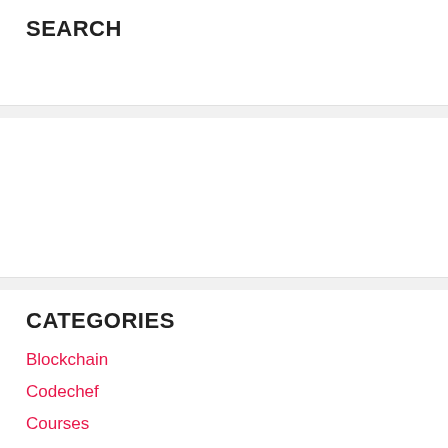SEARCH
[Figure (other): Empty white ad or widget box]
CATEGORIES
Blockchain
Codechef
Courses
Crypto
Full Time Opportunities